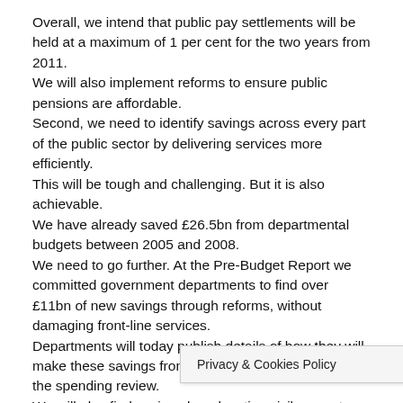Overall, we intend that public pay settlements will be held at a maximum of 1 per cent for the two years from 2011.
We will also implement reforms to ensure public pensions are affordable.
Second, we need to identify savings across every part of the public sector by delivering services more efficiently.
This will be tough and challenging. But it is also achievable.
We have already saved £26.5bn from departmental budgets between 2005 and 2008.
We need to go further. At the Pre-Budget Report we committed government departments to find over £11bn of new savings through reforms, without damaging front-line services.
Departments will today publish details of how they will make these savings from 2011, as we work towards the spending review.
We will also find savings by relocating civil servants from expensive London offices to elsewhere in the country.
In the long-term, I am announcing that the number of civil servants in London will be reduced b...
As a first step, 15,000 post... e next five
Privacy & Cookies Policy